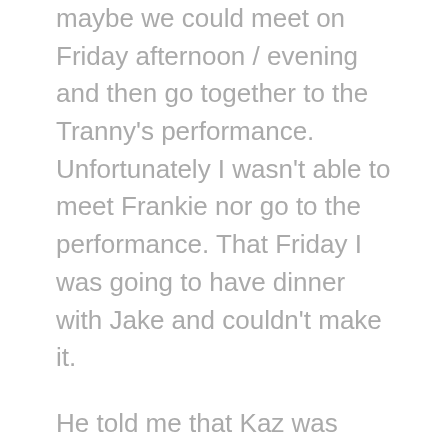maybe we could meet on Friday afternoon / evening and then go together to the Tranny's performance. Unfortunately I wasn't able to meet Frankie nor go to the performance. That Friday I was going to have dinner with Jake and couldn't make it.
He told me that Kaz was looking for a car and that he found a good one cheaply and will buy it for him and drive it down. He also told me about his friend who collects fold out fibre.
We were sitting on the balcony, the day was sunny but it was getting cold. Now it's now been a month since that day and my memory is letting me down a little. We have met since and I have now met his girlfriend, Daniela, his